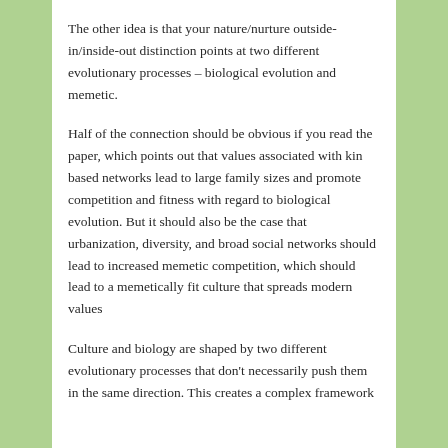The other idea is that your nature/nurture outside-in/inside-out distinction points at two different evolutionary processes – biological evolution and memetic.
Half of the connection should be obvious if you read the paper, which points out that values associated with kin based networks lead to large family sizes and promote competition and fitness with regard to biological evolution. But it should also be the case that urbanization, diversity, and broad social networks should lead to increased memetic competition, which should lead to a memetically fit culture that spreads modern values
Culture and biology are shaped by two different evolutionary processes that don't necessarily push them in the same direction. This creates a complex framework...